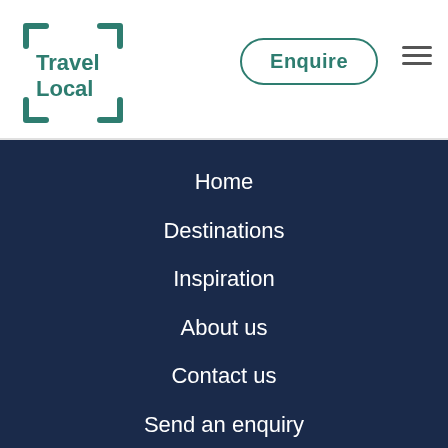[Figure (logo): Travel Local logo with teal corner brackets and text 'Travel Local']
Enquire
[Figure (other): Hamburger menu icon (three horizontal lines)]
Home
Destinations
Inspiration
About us
Contact us
Send an enquiry
[Figure (logo): Five gold stars above Reviews.co.uk logo with green star badge icon]
MORE INFO